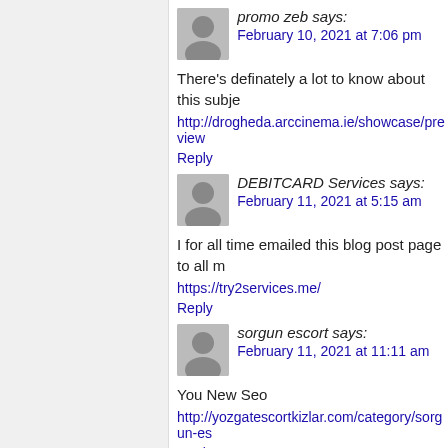promo zeb says:
February 10, 2021 at 7:06 pm
There's definately a lot to know about this subje
http://drogheda.arccinema.ie/showcase/preview
Reply
DEBITCARD Services says:
February 11, 2021 at 5:15 am
I for all time emailed this blog post page to all m
https://try2services.me/
Reply
sorgun escort says:
February 11, 2021 at 11:11 am
You New Seo
http://yozgatescortkizlar.com/category/sorgun-es
Reply